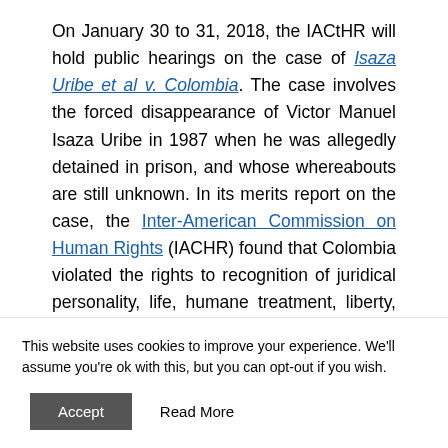On January 30 to 31, 2018, the IACtHR will hold public hearings on the case of Isaza Uribe et al v. Colombia. The case involves the forced disappearance of Victor Manuel Isaza Uribe in 1987 when he was allegedly detained in prison, and whose whereabouts are still unknown. In its merits report on the case, the Inter-American Commission on Human Rights (IACHR) found that Colombia violated the rights to recognition of juridical personality, life, humane treatment, liberty, freedom of association, fair trial, and judicial protection under the American Convention on Human Rights. The IACHR submitted the case to the IACtHR on April 3, 2016 due to
This website uses cookies to improve your experience. We'll assume you're ok with this, but you can opt-out if you wish.